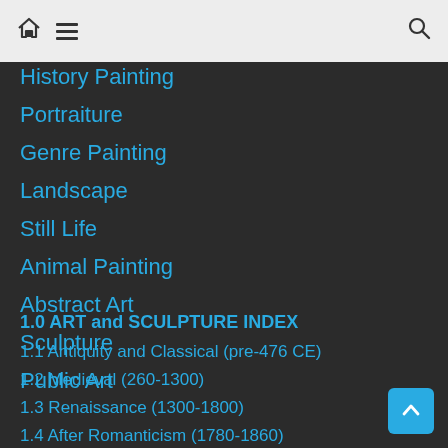home menu search
History Painting
Portraiture
Genre Painting
Landscape
Still Life
Animal Painting
Abstract Art
Sculpture
Public Art
1.0 ART and SCULPTURE INDEX
1.1 Antiquity and Classical (pre-476 CE)
1.2 Medieval (260-1300)
1.3 Renaissance (1300-1800)
1.4 After Romanticism (1780-1860)
1.5 Impressionism... (1860-WW1)